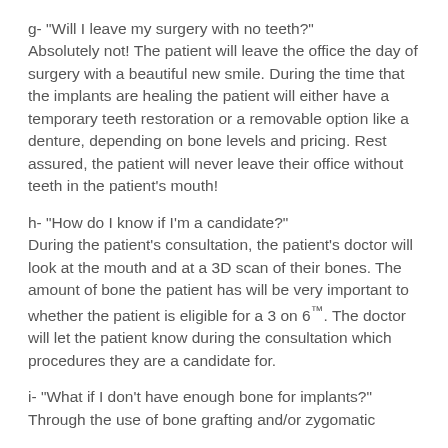g- "Will I leave my surgery with no teeth?"
Absolutely not! The patient will leave the office the day of surgery with a beautiful new smile. During the time that the implants are healing the patient will either have a temporary teeth restoration or a removable option like a denture, depending on bone levels and pricing. Rest assured, the patient will never leave their office without teeth in the patient's mouth!
h- "How do I know if I'm a candidate?"
During the patient's consultation, the patient's doctor will look at the mouth and at a 3D scan of their bones. The amount of bone the patient has will be very important to whether the patient is eligible for a 3 on 6™. The doctor will let the patient know during the consultation which procedures they are a candidate for.
i- "What if I don't have enough bone for implants?"
Through the use of bone grafting and/or zygomatic